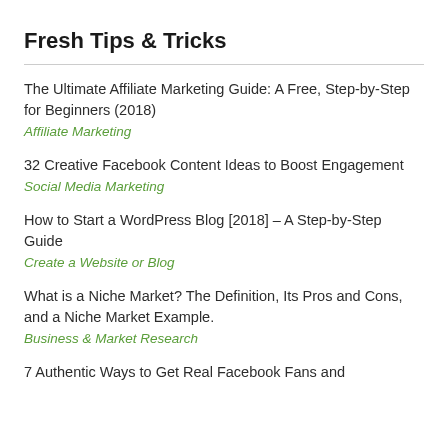Fresh Tips & Tricks
The Ultimate Affiliate Marketing Guide: A Free, Step-by-Step for Beginners (2018)
Affiliate Marketing
32 Creative Facebook Content Ideas to Boost Engagement
Social Media Marketing
How to Start a WordPress Blog [2018] – A Step-by-Step Guide
Create a Website or Blog
What is a Niche Market? The Definition, Its Pros and Cons, and a Niche Market Example.
Business & Market Research
7 Authentic Ways to Get Real Facebook Fans and